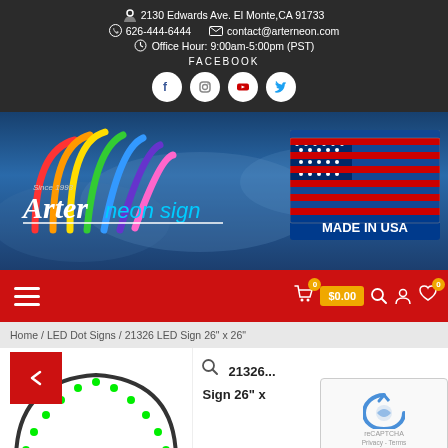2130 Edwards Ave. El Monte,CA 91733 | 626-444-6444 | contact@arterneon.com | Office Hour: 9:00am-5:00pm (PST) | FACEBOOK
[Figure (logo): Arter Neon Sign logo with colorful arcs and Made in USA flag banner]
Navigation bar with hamburger menu, cart $0.00, search, account, wishlist icons
Home / LED Dot Signs / 21326 LED Sign 26" x 26"
21326 LED Sign 26" x